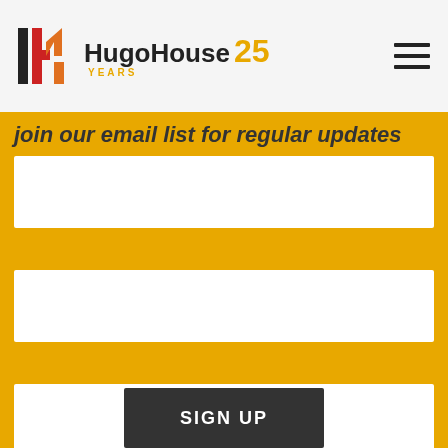Hugo House 25 YEARS
join our email list for regular updates
[Figure (other): White input field 1 (form field, empty)]
[Figure (other): White input field 2 (form field, empty)]
[Figure (other): White input field 3 (form field, empty)]
SIGN UP